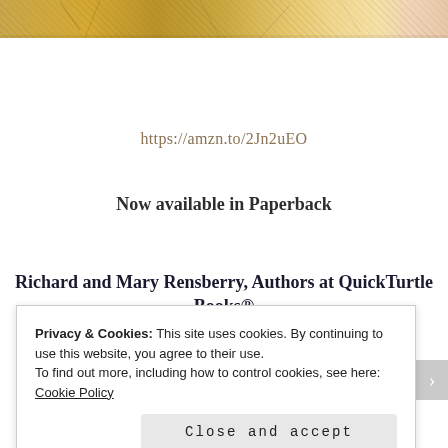[Figure (photo): Partial top edge of an illustration showing figures in yellow/ochre tones with sketched lines, cropped at the top of the page.]
https://amzn.to/2Jn2uEO
Now available in Paperback
Richard and Mary Rensberry, Authors at QuickTurtle Books®
Privacy & Cookies: This site uses cookies. By continuing to use this website, you agree to their use.
To find out more, including how to control cookies, see here: Cookie Policy

Close and accept